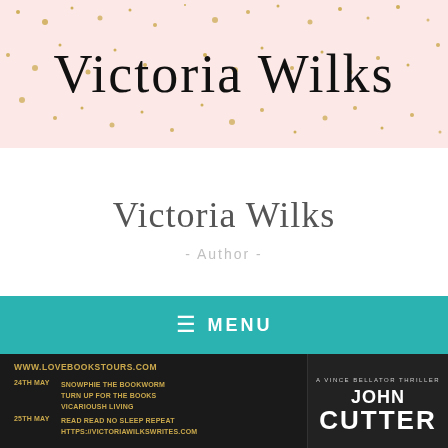[Figure (illustration): Pink banner with gold confetti dots and cursive text 'Victoria Wilks' in black]
Victoria Wilks
- Author -
≡ MENU
[Figure (screenshot): Book tour promotional banner on dark background showing: WWW.LOVEBOOKSTOURS.COM, 24TH MAY: SNOWPHIE THE BOOKWORM, TURN UP FOR THE BOOKS, VICARIOUSH LIVING; 25TH MAY: READ READ NO SLEEP REPEAT, HTTPS://VICTORIAWILKSWRITES.COM. Right side shows book cover with text: A VINCE BELLATOR THRILLER, JOHN, CUTTER]